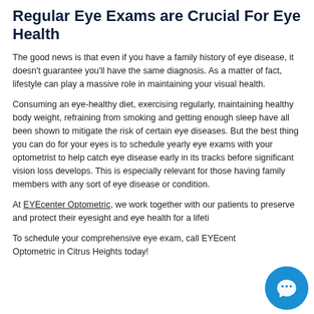Regular Eye Exams are Crucial For Eye Health
The good news is that even if you have a family history of eye disease, it doesn't guarantee you'll have the same diagnosis. As a matter of fact, lifestyle can play a massive role in maintaining your visual health.
Consuming an eye-healthy diet, exercising regularly, maintaining healthy body weight, refraining from smoking and getting enough sleep have all been shown to mitigate the risk of certain eye diseases. But the best thing you can do for your eyes is to schedule yearly eye exams with your optometrist to help catch eye disease early in its tracks before significant vision loss develops. This is especially relevant for those having family members with any sort of eye disease or condition.
At EYEcenter Optometric, we work together with our patients to preserve and protect their eyesight and eye health for a lifeti…
To schedule your comprehensive eye exam, call EYEcenter Optometric in Citrus Heights today!